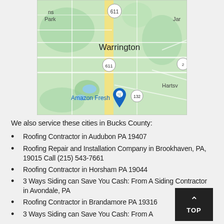[Figure (map): Google Maps screenshot showing Warrington PA area with route 611 and 132, Amazon Fresh location marker, Hartsv(ille) area visible on right]
We also service these cities in Bucks County:
Roofing Contractor in Audubon PA 19407
Roofing Repair and Installation Company in Brookhaven, PA, 19015 Call (215) 543-7661
Roofing Contractor in Horsham PA 19044
3 Ways Siding can Save You Cash: From A Siding Contractor in Avondale, PA
Roofing Contractor in Brandamore PA 19316
3 Ways Siding can Save You Cash: From A